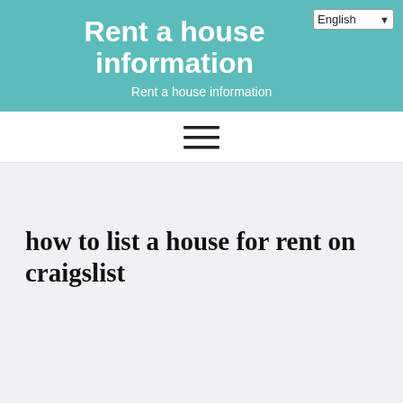Rent a house information
Rent a house information
[Figure (other): Hamburger menu icon with three horizontal lines]
how to list a house for rent on craigslist